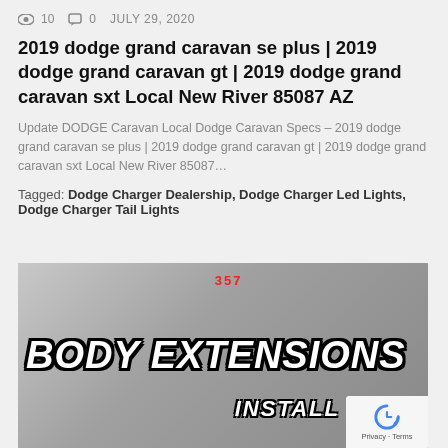10  0  JULY 29, 2020
2019 dodge grand caravan se plus | 2019 dodge grand caravan gt | 2019 dodge grand caravan sxt Local New River 85087 AZ
Update DODGE Caravan Local Dodge Caravan Specs – 2019 dodge grand caravan se plus | 2019 dodge grand caravan gt | 2019 dodge grand caravan sxt Local New River 85087…
Tagged: Dodge Charger Dealership, Dodge Charger Led Lights, Dodge Charger Tail Lights
[Figure (photo): Thumbnail image showing a vehicle with large bold text reading BODY EXTENSIONS INSTALL, with a reCAPTCHA badge in the bottom-right corner.]